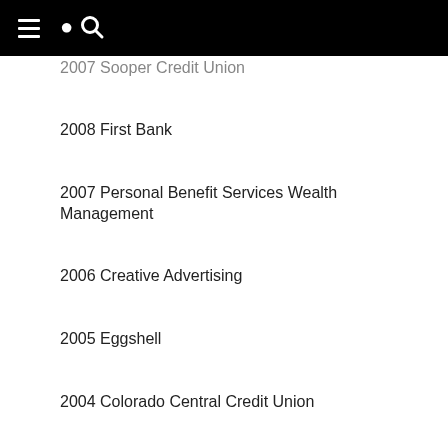2007 Sooper Credit Union
2008 First Bank
2007 Personal Benefit Services Wealth Management
2006 Creative Advertising
2005 Eggshell
2004 Colorado Central Credit Union
2003 Goodberry's Restaurant
2002 Pridemark Paramedic Services